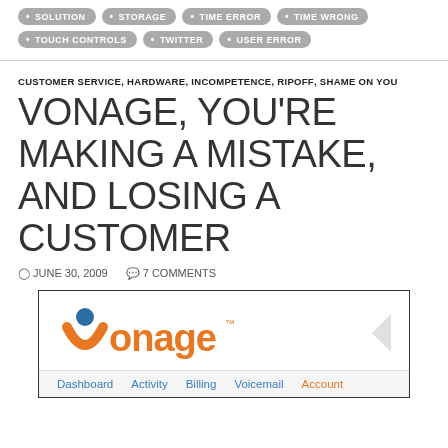SOLUTION
STORAGE
TIME ERROR
TIME WRONG
TOUCH CONTROLS
TWITTER
USER ERROR
CUSTOMER SERVICE, HARDWARE, INCOMPETENCE, RIPOFF, SHAME ON YOU
VONAGE, YOU'RE MAKING A MISTAKE, AND LOSING A CUSTOMER
JUNE 30, 2009   7 COMMENTS
[Figure (screenshot): Vonage website screenshot showing the Vonage logo in orange with a blue circle dot, and navigation links: Dashboard, Activity, Billing, Voicemail, Account]